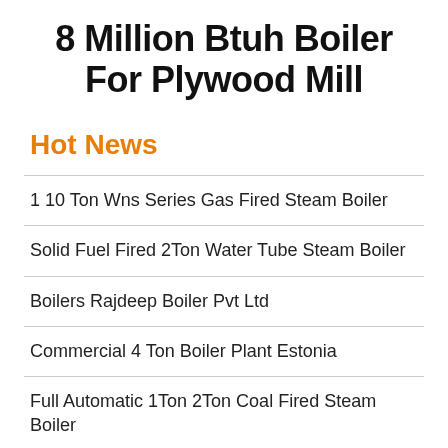8 Million Btuh Boiler For Plywood Mill
Hot News
1 10 Ton Wns Series Gas Fired Steam Boiler
Solid Fuel Fired 2Ton Water Tube Steam Boiler
Boilers Rajdeep Boiler Pvt Ltd
Commercial 4 Ton Boiler Plant Estonia
Full Automatic 1Ton 2Ton Coal Fired Steam Boiler
thermax diesel oil fired boiler Agents rate details